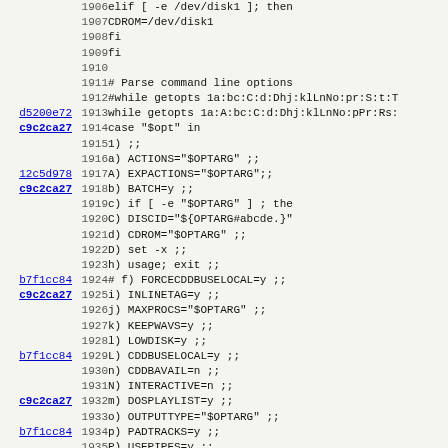[Figure (screenshot): Source code viewer showing shell script lines 1906-1938 with git commit hashes on the left and line numbers, displaying a case statement parsing command line options.]